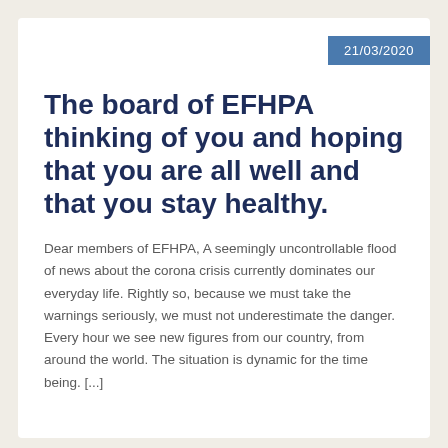21/03/2020
The board of EFHPA thinking of you and hoping that you are all well and that you stay healthy.
Dear members of EFHPA, A seemingly uncontrollable flood of news about the corona crisis currently dominates our everyday life. Rightly so, because we must take the warnings seriously, we must not underestimate the danger. Every hour we see new figures from our country, from around the world. The situation is dynamic for the time being. [...]